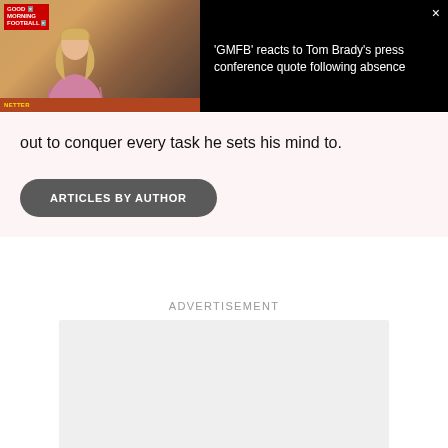[Figure (screenshot): Video overlay showing a woman on a TV set with 'Good Morning Football' logo on the left, and text on the right reading: 'GMFB' reacts to Tom Brady's press conference quote following absence. A close button (×) appears in the top-right corner.]
out to conquer every task he sets his mind to.
ARTICLES BY AUTHOR
ADVERTISEMENT